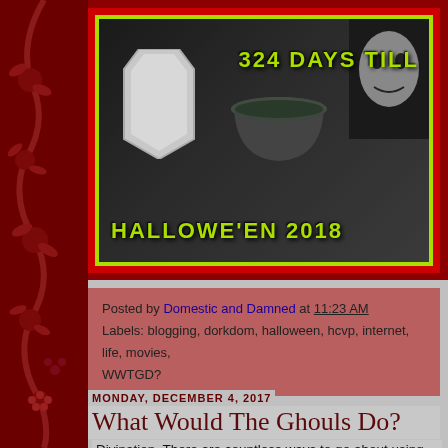[Figure (photo): Halloween countdown banner showing a white coffin, a black cauldron/bowl, and a ghoulish face in darkness. Yellow-green text reads '324 DAYS TILL' at top right and 'HALLOWE'EN 2018' at bottom left. The banner has a dark background with lime green border and red outer border.]
Posted by Domestic and Damned at 11:23 AM
Labels: blogging, dorkdom, halloween, hcvp, internet, life, movies, WWTGD?
MONDAY, DECEMBER 4, 2017
What Would The Ghouls Do?
Divination. There are countless ways to go about using questions we find ourselves facing. From tarots, to run…